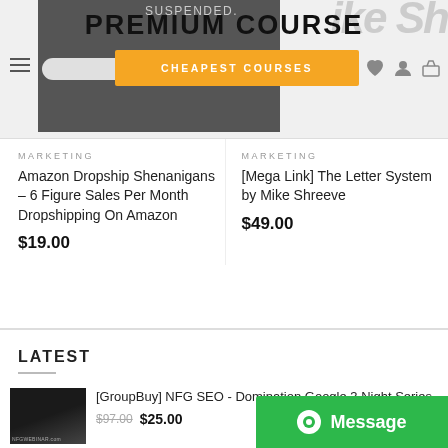PREMIUM COURSE | CHEAPEST COURSES
MARKETING
Amazon Dropship Shenanigans – 6 Figure Sales Per Month Dropshipping On Amazon
$19.00
MARKETING
[Mega Link] The Letter System by Mike Shreeve
$49.00
LATEST
[Figure (screenshot): Thumbnail image for NFG SEO Domination Google course]
[GroupBuy] NFG SEO - Domination Google 3 Night Series $97.00 $25.00